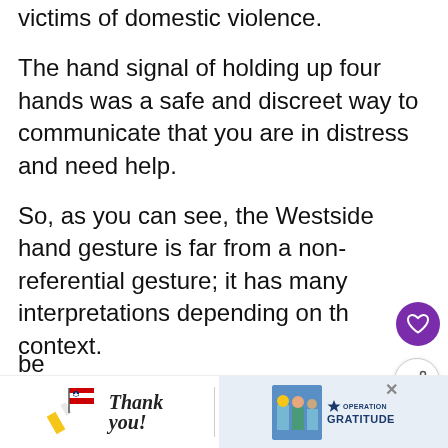victims of domestic violence.
The hand signal of holding up four hands was a safe and discreet way to communicate that you are in distress and need help.
So, as you can see, the Westside hand gesture is far from a non-referential gesture; it has many interpretations depending on the context.
When it comes to musical entertainment, rappers hold up this Florida-based gang sign be... ng, and ac... t Coas...
[Figure (screenshot): UI overlay: purple heart button and share button on the right side of the article]
[Figure (screenshot): WHAT'S NEXT widget with thumbnail image and text 'The Reason Rappers Call...']
[Figure (screenshot): Advertisement banner at bottom: 'Thank you!' text with American flag pencil graphic and Operation Gratitude logo with healthcare workers photo]